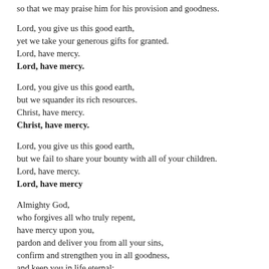so that we may praise him for his provision and goodness.
Lord, you give us this good earth,
yet we take your generous gifts for granted.
Lord, have mercy.
Lord, have mercy.
Lord, you give us this good earth,
but we squander its rich resources.
Christ, have mercy.
Christ, have mercy.
Lord, you give us this good earth,
but we fail to share your bounty with all of your children.
Lord, have mercy.
Lord, have mercy
Almighty God,
who forgives all who truly repent,
have mercy upon you,
pardon and deliver you from all your sins,
confirm and strengthen you in all goodness,
and keep you in life eternal;
through Jesus Christ our Lord.